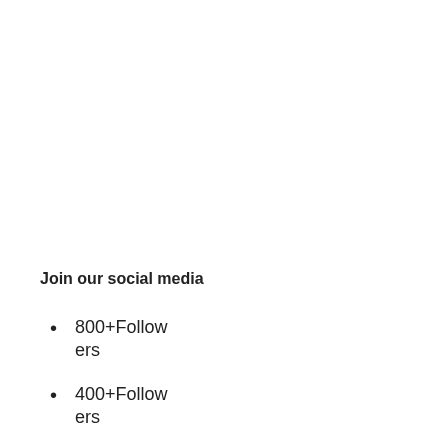Join our social media
800+Followers
400+Followers